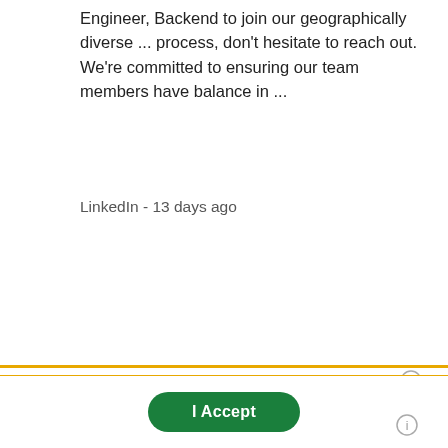Engineer, Backend to join our geographically diverse ... process, don't hesitate to reach out. We're committed to ensuring our team members have balance in ...
LinkedIn - 13 days ago
Ad · https://professionalprograms.umbc.edu/engm
UMBC Engineering Mgmt - Master's and Certificate
Preparing Engineers for Leadership Roles. Transform Your Career Today!
This site uses cookies and other similar technologies to provide site functionality, analyze traffic and usage, and deliver content tailored to your interests. | Learn More